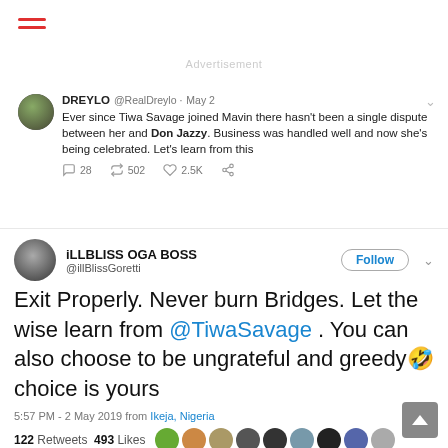[Figure (screenshot): Hamburger menu icon with three red horizontal lines]
Advertisement
DREYLO @RealDreylo · May 2
Ever since Tiwa Savage joined Mavin there hasn't been a single dispute between her and Don Jazzy. Business was handled well and now she's being celebrated. Let's learn from this
28  502  2.5K
iLLBLISS OGA BOSS
@illBlissGoretti
Exit Properly. Never burn Bridges. Let the wise learn from @TiwaSavage . You can also choose to be ungrateful and greedy🤣 choice is yours
5:57 PM - 2 May 2019 from Ikeja, Nigeria
122 Retweets  493 Likes